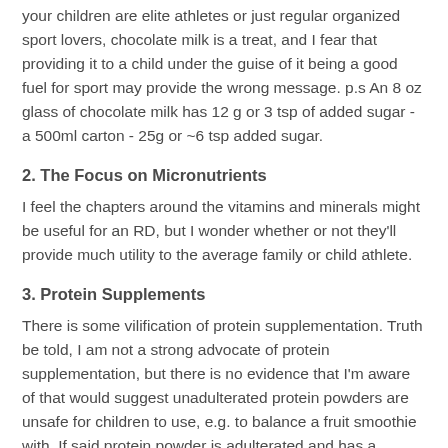your children are elite athletes or just regular organized sport lovers, chocolate milk is a treat, and I fear that providing it to a child under the guise of it being a good fuel for sport may provide the wrong message. p.s An 8 oz glass of chocolate milk has 12 g or 3 tsp of added sugar - a 500ml carton - 25g or ~6 tsp added sugar.
2. The Focus on Micronutrients
I feel the chapters around the vitamins and minerals might be useful for an RD, but I wonder whether or not they'll provide much utility to the average family or child athlete.
3. Protein Supplements
There is some vilification of protein supplementation. Truth be told, I am not a strong advocate of protein supplementation, but there is no evidence that I'm aware of that would suggest unadulterated protein powders are unsafe for children to use, e.g. to balance a fruit smoothie with. If said protein powder is adulterated and has a sketchy wt loss or endurance supplement added to it, then yes...